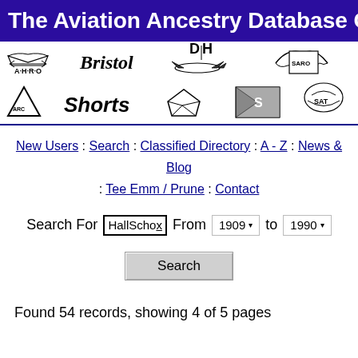The Aviation Ancestry Database Of B
[Figure (logo): Strip of aviation company logos including Avro, Bristol, DH, Saro, ARC, Shorts, and others]
New Users : Search : Classified Directory : A - Z : News & Blog : Tee Emm / Prune : Contact
Search For HallSchox From 1909 to 1990
Search
Found 54 records, showing 4 of 5 pages